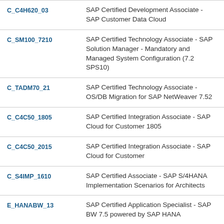| Code | Description |
| --- | --- |
| C_C4H620_03 | SAP Certified Development Associate - SAP Customer Data Cloud |
| C_SM100_7210 | SAP Certified Technology Associate - SAP Solution Manager - Mandatory and Managed System Configuration (7.2 SPS10) |
| C_TADM70_21 | SAP Certified Technology Associate - OS/DB Migration for SAP NetWeaver 7.52 |
| C_C4C50_1805 | SAP Certified Integration Associate - SAP Cloud for Customer 1805 |
| C_C4C50_2015 | SAP Certified Integration Associate - SAP Cloud for Customer |
| C_S4IMP_1610 | SAP Certified Associate - SAP S/4HANA Implementation Scenarios for Architects |
| E_HANABW_13 | SAP Certified Application Specialist - SAP BW 7.5 powered by SAP HANA |
| C_SRM_72 | SAP Certified Application Associate - Supplier |